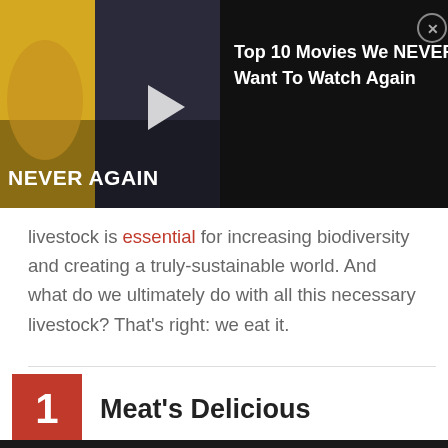[Figure (screenshot): Video thumbnail advertisement: 'Top 10 Movies We NEVER Want To Watch Again' with a woman reacting in shock on the left side, Batman vs Superman movie scene in background, play button overlay, close (X) button in top right corner, on dark background.]
livestock is essential for increasing biodiversity and creating a truly-sustainable world. And what do we ultimately do with all this necessary livestock? That’s right: we eat it.
1 Meat’s Delicious
[Figure (photo): Partial photo at bottom of page showing a dark background with a small flame/fire visible at bottom right.]